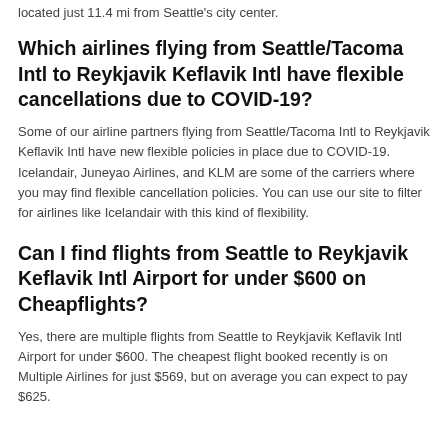located just 11.4 mi from Seattle's city center.
Which airlines flying from Seattle/Tacoma Intl to Reykjavik Keflavik Intl have flexible cancellations due to COVID-19?
Some of our airline partners flying from Seattle/Tacoma Intl to Reykjavik Keflavik Intl have new flexible policies in place due to COVID-19. Icelandair, Juneyao Airlines, and KLM are some of the carriers where you may find flexible cancellation policies. You can use our site to filter for airlines like Icelandair with this kind of flexibility.
Can I find flights from Seattle to Reykjavik Keflavik Intl Airport for under $600 on Cheapflights?
Yes, there are multiple flights from Seattle to Reykjavik Keflavik Intl Airport for under $600. The cheapest flight booked recently is on Multiple Airlines for just $569, but on average you can expect to pay $625.